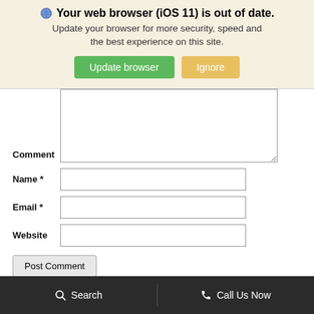[Figure (screenshot): Browser update warning banner with globe icon, bold title 'Your web browser (iOS 11) is out of date.', subtitle text, and two buttons: 'Update browser' (green) and 'Ignore' (tan/yellow).]
Comment
Name *
Email *
Website
Post Comment
0 comment(s) so far on What You Can Expect From a Finance Team at a Car Dealership
Search   Call Us Now